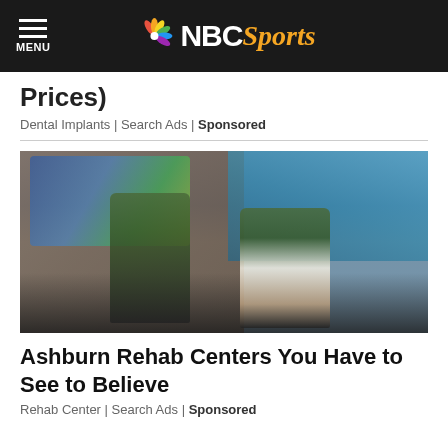NBC Sports
Prices)
Dental Implants | Search Ads | Sponsored
[Figure (photo): Two young women sitting against a graffiti-covered brick wall, both wearing green camouflage jackets, holding items and posing for the camera. Urban street photography style.]
Ashburn Rehab Centers You Have to See to Believe
Rehab Center | Search Ads | Sponsored